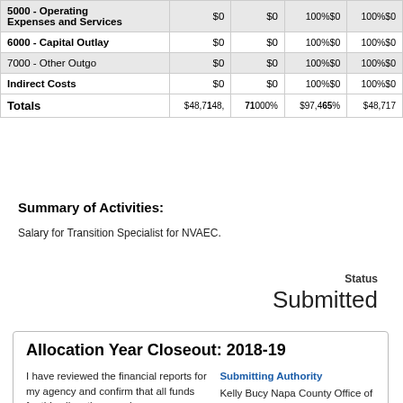| Category |  |  |  |  |  |
| --- | --- | --- | --- | --- | --- |
| 5000 - Operating Expenses and Services | $0 | $0 | 100%$0 | 100%$0 |  |
| 6000 - Capital Outlay | $0 | $0 | 100%$0 | 100%$0 |  |
| 7000 - Other Outgo | $0 | $0 | 100%$0 | 100%$0 |  |
| Indirect Costs | $0 | $0 | 100%$0 | 100%$0 |  |
| Totals | $48,748 | $48,71000% | $97,465% | $48,717 |  |
Summary of Activities:
Salary for Transition Specialist for NVAEC.
Status
Submitted
Allocation Year Closeout: 2018-19
I have reviewed the financial reports for my agency and confirm that all funds for this allocation year have
Submitting Authority
Kelly Bucy Napa County Office of Education, Director of Fiscal Services